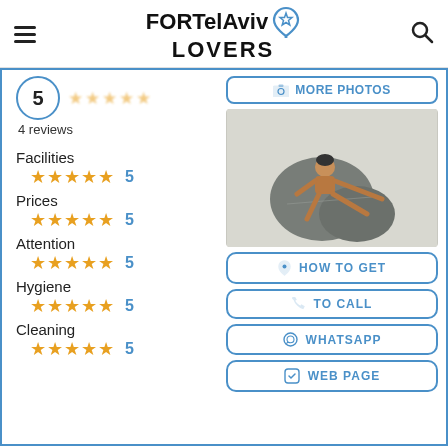FOR Tel Aviv LOVERS
5 · 4 reviews
Facilities ★★★★★ 5
Prices ★★★★★ 5
Attention ★★★★★ 5
Hygiene ★★★★★ 5
Cleaning ★★★★★ 5
[Figure (screenshot): More Photos button with camera icon]
[Figure (photo): Wooden figurine hugging large smooth grey stone on light background]
[Figure (infographic): HOW TO GET button with location pin icon]
[Figure (infographic): TO CALL button with phone icon]
[Figure (infographic): WHATSAPP button with whatsapp icon]
[Figure (infographic): WEB PAGE button with link icon]